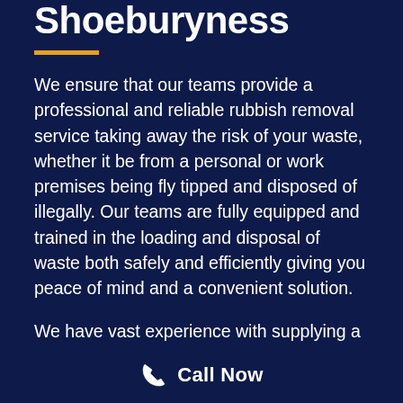Shoeburyness
We ensure that our teams provide a professional and reliable rubbish removal service taking away the risk of your waste, whether it be from a personal or work premises being fly tipped and disposed of illegally. Our teams are fully equipped and trained in the loading and disposal of waste both safely and efficiently giving you peace of mind and a convenient solution.

We have vast experience with supplying a wait & load rubbish removal service and are in line
Call Now